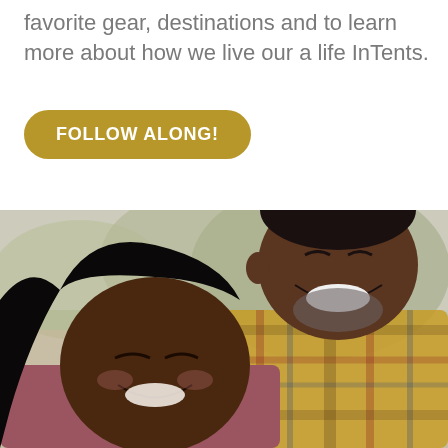favorite gear, destinations and to learn more about how we live our a life InTents.
FOLLOW ALONG!
[Figure (photo): A smiling middle-aged Black man wearing a plaid shirt laughing joyfully, with a young Black woman leaning against him with eyes closed and smiling, outdoors with blurred green and beige background.]